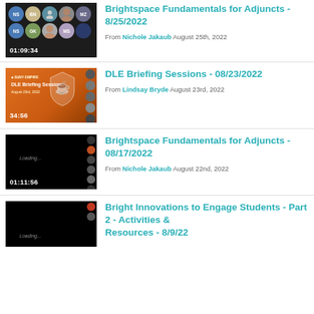[Figure (screenshot): Video thumbnail showing Zoom participant grid with participant initials (NS, BN, GK, MS, MZ) and a duration of 01:09:34]
Brightspace Fundamentals for Adjuncts - 8/25/2022
From Nichole Jakaub August 25th, 2022
[Figure (screenshot): Video thumbnail showing DLE Briefing Session orange slide with shield logo, duration 34:56]
DLE Briefing Sessions - 08/23/2022
From Lindsay Bryde August 23rd, 2022
[Figure (screenshot): Video thumbnail showing black screen with Loading... text and participant avatars on the right, duration 01:11:56]
Brightspace Fundamentals for Adjuncts - 08/17/2022
From Nichole Jakaub August 22nd, 2022
[Figure (screenshot): Video thumbnail showing black screen with Loading... text and participant avatars on the right, partially visible]
Bright Innovations to Engage Students - Part 2 - Activities & Resources - 8/9/22